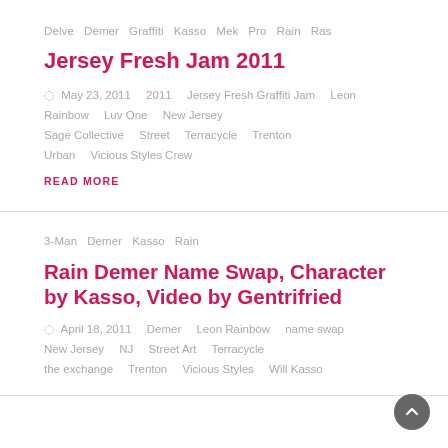Delve  Demer  Graffiti  Kasso  Mek  Pro  Rain  Ras
Jersey Fresh Jam 2011
May 23, 2011   2011   Jersey Fresh Graffiti Jam   Leon Rainbow   Luv One   New Jersey   Sage Collective   Street   Terracycle   Trenton   Urban   Vicious Styles Crew
READ MORE
3-Man  Demer  Kasso  Rain
Rain Demer Name Swap, Character by Kasso, Video by Gentrifried
April 18, 2011   Demer   Leon Rainbow   name swap   New Jersey   NJ   Street Art   Terracycle   the exchange   Trenton   Vicious Styles   Will Kasso